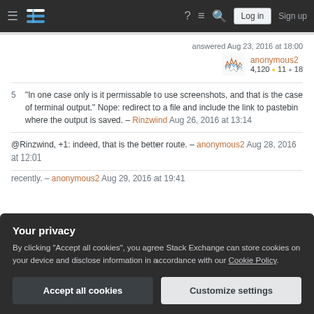Stack Exchange navigation bar with logo, help, chat, search, Log in, Sign up
answered Aug 23, 2016 at 18:00
anonymous2 4,120 ● 11 ● 18
5  "In one case only is it permissable to use screenshots, and that is the case of terminal output." Nope: redirect to a file and include the link to pastebin where the output is saved. – Rinzwind Aug 26, 2016 at 13:14
@Rinzwind, +1: indeed, that is the better route. – anonymous2 Aug 28, 2016 at 12:01
recently. – anonymous2 Aug 29, 2016 at 19:41
Your privacy
By clicking "Accept all cookies", you agree Stack Exchange can store cookies on your device and disclose information in accordance with our Cookie Policy.
Accept all cookies  Customize settings